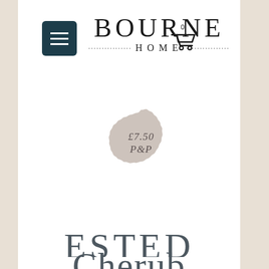[Figure (logo): Bourne Home logo with hamburger menu icon on left, shopping cart icon on right. Logo shows 'BOURNE' in large serif letters above 'HOME' with dotted decorative lines on either side.]
[Figure (illustration): Circular wax seal stamp in grey/taupe color with italic text '£7.50 P&P' inside it.]
ESTED
Cherub